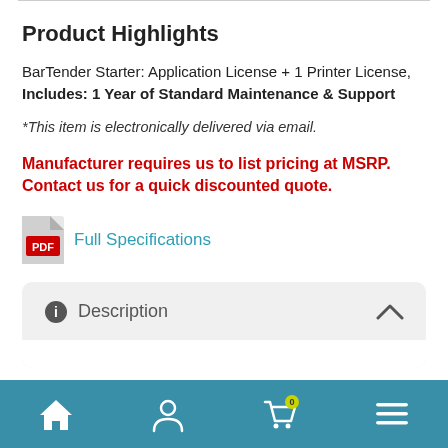Product Highlights
BarTender Starter: Application License + 1 Printer License, Includes: 1 Year of Standard Maintenance & Support
*This item is electronically delivered via email.
Manufacturer requires us to list pricing at MSRP. Contact us for a quick discounted quote.
[Figure (other): PDF icon with Full Specifications link]
Description